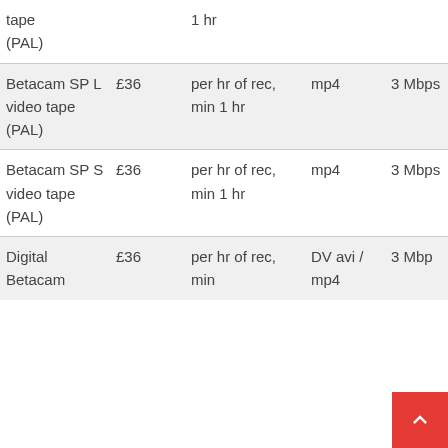| Item | Price | Unit | Format | Bitrate |
| --- | --- | --- | --- | --- |
| tape
(PAL) |  | 1 hr |  |  |
| Betacam SP L video tape (PAL) | £36 | per hr of rec, min 1 hr | mp4 | 3 Mbps |
| Betacam SP S video tape (PAL) | £36 | per hr of rec, min 1 hr | mp4 | 3 Mbps |
| Digital Betacam | £36 | per hr of rec, min | DV avi / mp4 | 3 Mbps |